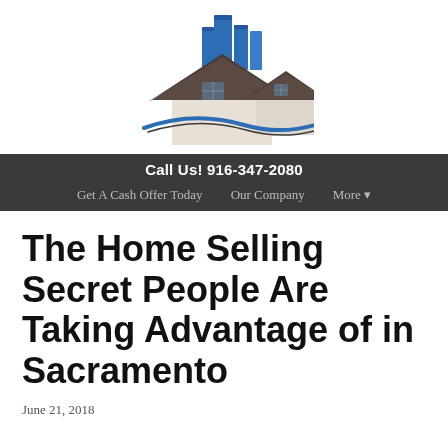[Figure (logo): Real estate company logo with two house silhouettes with dark grey roofs, blue city buildings above, and a blue swoosh curve beneath]
Call Us! 916-347-2080
Get A Cash Offer Today   Our Company   More ▾
The Home Selling Secret People Are Taking Advantage of in Sacramento
June 21, 2018